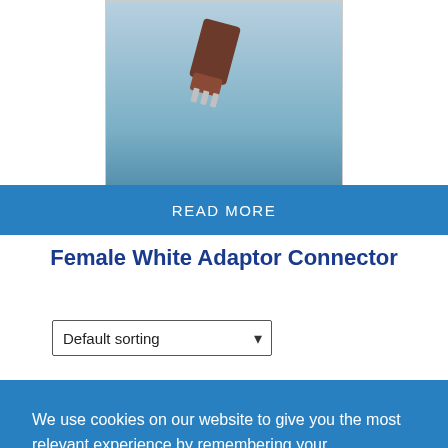[Figure (photo): Product image of a Female White Adaptor Connector on a blue-grey gradient background]
READ MORE
Female White Adaptor Connector
Default sorting
We use cookies on our website to give you the most relevant experience by remembering your preferences and repeat visits. By clicking “Accept”, you consent to the use of ALL the cookies.
Do not sell my personal information.
Cookie Settings  Accept